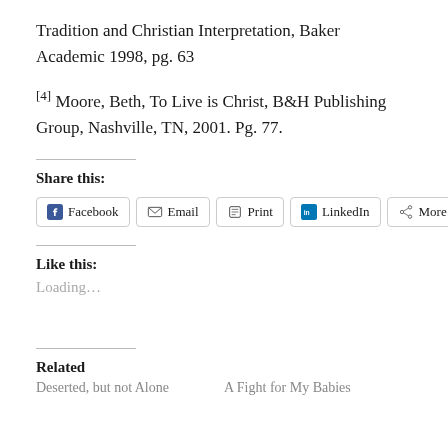Tradition and Christian Interpretation, Baker Academic 1998, pg. 63
[4] Moore, Beth, To Live is Christ, B&H Publishing Group, Nashville, TN, 2001. Pg. 77.
Share this:
Facebook  Email  Print  LinkedIn  More
Like this:
Loading...
Related
Deserted, but not Alone     A Fight for My Babies